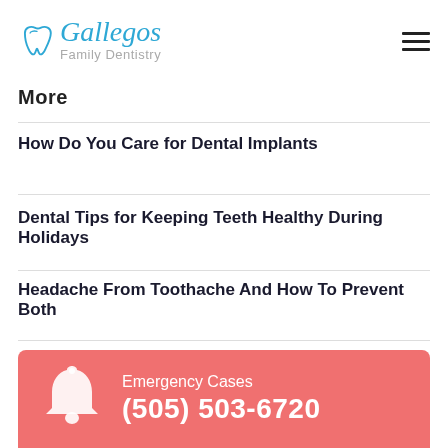[Figure (logo): Gallegos Family Dentistry logo with tooth icon, blue script text 'Gallegos' and gray text 'Family Dentistry']
More
How Do You Care for Dental Implants
Dental Tips for Keeping Teeth Healthy During Holidays
Headache From Toothache And How To Prevent Both
Emergency Cases (505) 503-6720